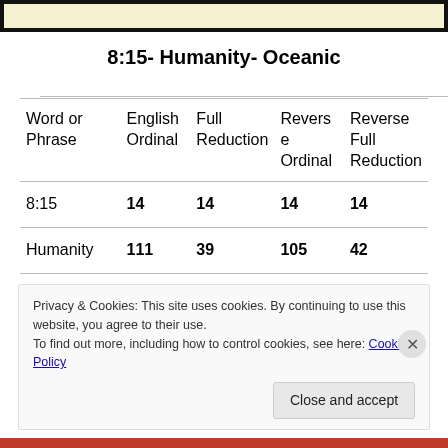[Figure (other): Top decorative image bar with black border and light yellow background]
8:15- Humanity- Oceanic
| Word or Phrase | English Ordinal | Full Reduction | Reverse Ordinal | Reverse Full Reduction |
| --- | --- | --- | --- | --- |
| 8:15 | 14 | 14 | 14 | 14 |
| Humanity | 111 | 39 | 105 | 42 |
Privacy & Cookies: This site uses cookies. By continuing to use this website, you agree to their use.
To find out more, including how to control cookies, see here: Cookie Policy